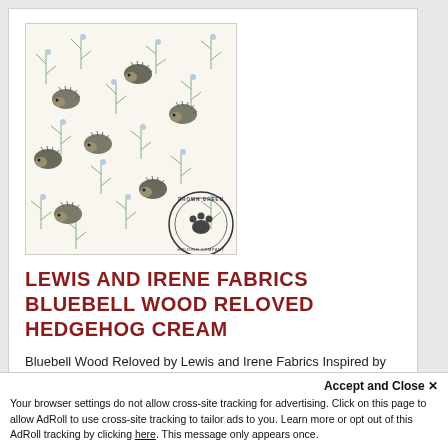[Figure (photo): Product image of Lewis and Irene Fabrics Bluebell Wood Reloved Hedgehog Cream fabric, showing a cream/white fabric with a repeating pattern of hedgehogs and botanical/floral elements in muted greens and grays. A circular brand logo is visible in the lower right corner.]
LEWIS AND IRENE FABRICS BLUEBELL WOOD RELOVED HEDGEHOG CREAM
Bluebell Wood Reloved by Lewis and Irene Fabrics Inspired by walks in an ancient and protected woods near our home, this previously best selling collection has been redesigned and recolored to create another beautiful woodland collection. Carpets of bluebells cover ...
Item # LEIA128-1
$19.99
Accept and Close ✕
Your browser settings do not allow cross-site tracking for advertising. Click on this page to allow AdRoll to use cross-site tracking to tailor ads to you. Learn more or opt out of this AdRoll tracking by clicking here. This message only appears once.